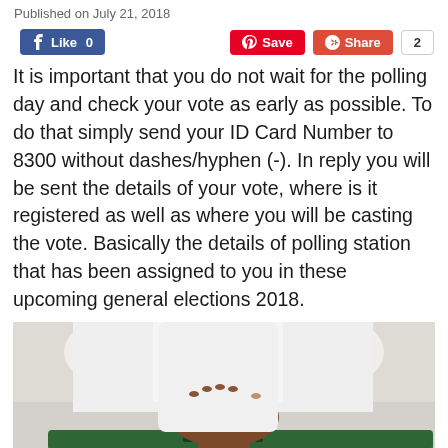Published on July 21, 2018
[Figure (infographic): Social media sharing buttons: Facebook Like 0, Pinterest Save, Google+ Share, share count 2]
It is important that you do not wait for the polling day and check your vote as early as possible. To do that simply send your ID Card Number to 8300 without dashes/hyphen (-). In reply you will be sent the details of your vote, where is it registered as well as where you will be casting the vote. Basically the details of polling station that has been assigned to you in these upcoming general elections 2018.
[Figure (photo): A hand inserting a ballot paper into a green ballot box with yellow plastic seals on the sides]